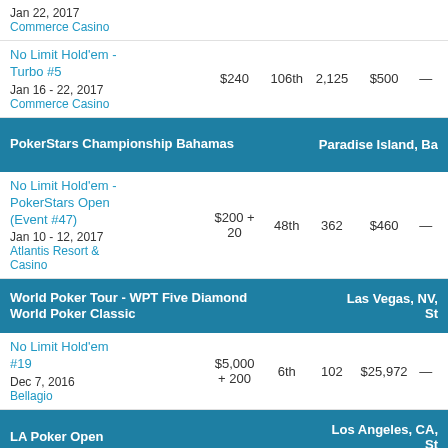Jan 22, 2017
Commerce Casino
| Event | Buy-in | Place | Entries | Prize | Pts |
| --- | --- | --- | --- | --- | --- |
| No Limit Hold'em - Turbo #5
Jan 16 - 22, 2017
Commerce Casino | $240 | 106th | 2,125 | $500 | — |
| PokerStars Championship Bahamas |  |  |  |  | Paradise Island, Ba |
| No Limit Hold'em - PokerStars Open (Event #47)
Jan 10 - 12, 2017
Atlantis Resort & Casino | $200 + 20 | 48th | 362 | $460 | — |
| World Poker Tour - WPT Five Diamond World Poker Classic |  |  |  |  | Las Vegas, NV |
| No Limit Hold'em #19
Dec 7, 2016
Bellagio | $5,000 + 200 | 6th | 102 | $25,972 | — |
| LA Poker Open |  |  |  |  | Los Angeles, CA |